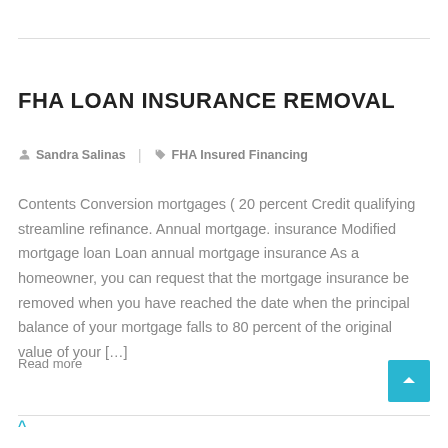FHA LOAN INSURANCE REMOVAL
Sandra Salinas  |  FHA Insured Financing
Contents Conversion mortgages ( 20 percent Credit qualifying streamline refinance. Annual mortgage. insurance Modified mortgage loan Loan annual mortgage insurance As a homeowner, you can request that the mortgage insurance be removed when you have reached the date when the principal balance of your mortgage falls to 80 percent of the original value of your […]
Read more